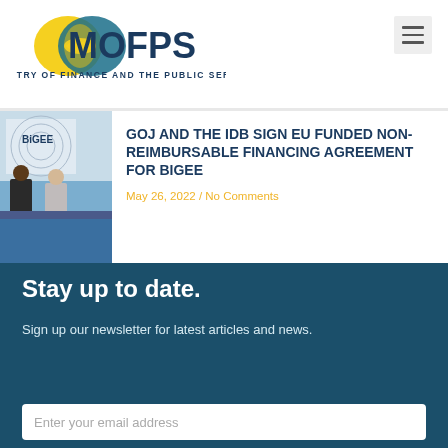[Figure (logo): MOFPS - Ministry of Finance and the Public Service logo with yellow and teal circular design]
[Figure (photo): Photo of officials signing agreement at a table with BIGEE banner in background]
GOJ AND THE IDB SIGN EU FUNDED NON-REIMBURSABLE FINANCING AGREEMENT FOR BIGEE
May 26, 2022 / No Comments
Stay up to date.
Sign up our newsletter for latest articles and news.
Enter your email address